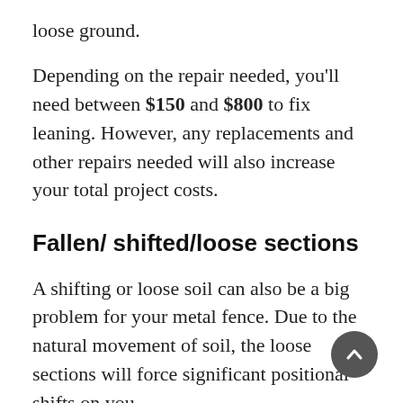loose ground.
Depending on the repair needed, you'll need between $150 and $800 to fix leaning. However, any replacements and other repairs needed will also increase your total project costs.
Fallen/ shifted/loose sections
A shifting or loose soil can also be a big problem for your metal fence. Due to the natural movement of soil, the loose sections will force significant positional shifts on your